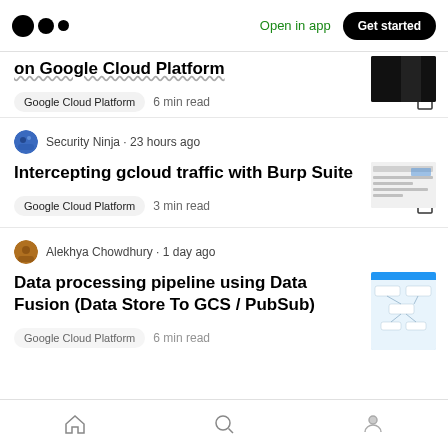Medium logo | Open in app | Get started
on Google Cloud Platform
Google Cloud Platform · 6 min read
Security Ninja · 23 hours ago
Intercepting gcloud traffic with Burp Suite
Google Cloud Platform · 3 min read
Alekhya Chowdhury · 1 day ago
Data processing pipeline using Data Fusion (Data Store To GCS / PubSub)
Google Cloud Platform · 6 min read
Home | Search | Profile